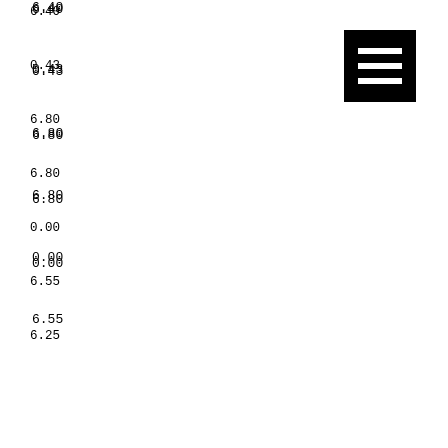6.40
0.43
6.80
6.80
0.00
6.55
6.25
0.30
56.  The business office is open during hours which are convenient for most students.
6.17
5.82
0.35
6.38
6.33
[Figure (other): Black square icon with three horizontal white lines (hamburger/menu icon)]